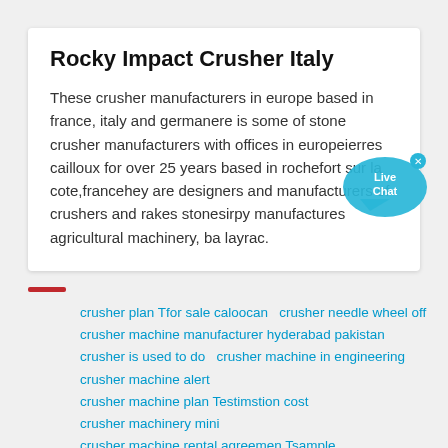Rocky Impact Crusher Italy
These crusher manufacturers in europe based in france, italy and germanere is some of stone crusher manufacturers with offices in europeierres cailloux for over 25 years based in rochefort sur la cote,francehey are designers and manufacturers of crushers and rakes stonesirpy manufactures agricultural machinery, ba layrac.
crusher plan Tfor sale caloocan  crusher needle wheel off
crusher machine manufacturer hyderabad pakistan
crusher is used to do  crusher machine in engineering
crusher machine alert
crusher machine plan Testimstion cost
crusher machinery mini
crusher machine rental agreemen Tsample
crusher plan Tmanufacturer contacts chinacom